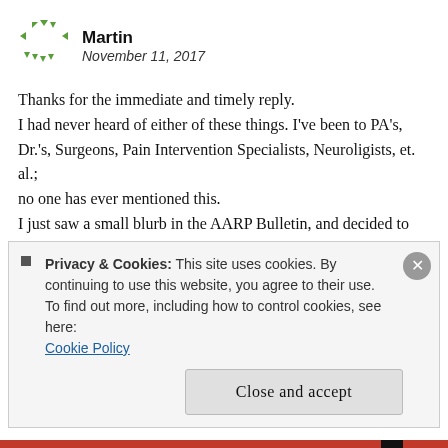Martin — November 11, 2017
Thanks for the immediate and timely reply.
I had never heard of either of these things. I've been to PA's, Dr.'s, Surgeons, Pain Intervention Specialists, Neuroligists, et. al.; no one has ever mentioned this.
I just saw a small blurb in the AARP Bulletin, and decided to follow up on it.
Thanks again.
★ Liked by 1 person
Privacy & Cookies: This site uses cookies. By continuing to use this website, you agree to their use.
To find out more, including how to control cookies, see here: Cookie Policy
Close and accept